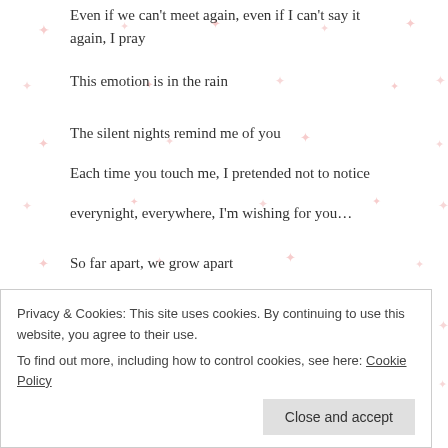Even if we can't meet again, even if I can't say it again, I pray
This emotion is in the rain
The silent nights remind me of you
Each time you touch me, I pretended not to notice
everynight, everywhere, I'm wishing for you…
So far apart, we grow apart
And our love shines forever, and I dream of you
I just wanna say,
I wish I would have met you earlier
Privacy & Cookies: This site uses cookies. By continuing to use this website, you agree to their use.
To find out more, including how to control cookies, see here: Cookie Policy